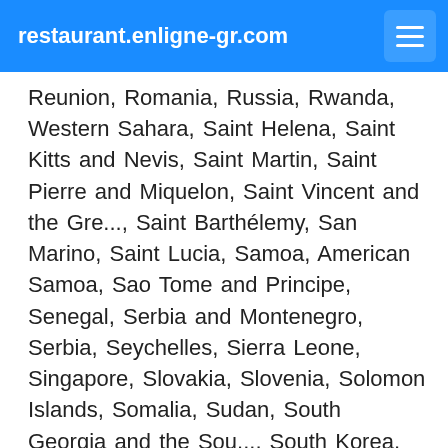restaurant.enligne-gr.com
Reunion, Romania, Russia, Rwanda, Western Sahara, Saint Helena, Saint Kitts and Nevis, Saint Martin, Saint Pierre and Miquelon, Saint Vincent and the Gre..., Saint Barthélemy, San Marino, Saint Lucia, Samoa, American Samoa, Sao Tome and Principe, Senegal, Serbia and Montenegro, Serbia, Seychelles, Sierra Leone, Singapore, Slovakia, Slovenia, Solomon Islands, Somalia, Sudan, South Georgia and the Sou..., South Korea, Sri Lanka, Suriname, Sweden, Svalbard and Jan Mayen, Swaziland, Switzerland, Syria, Tajikistan, Taiwan, Tanzania, Thailand, Togo, Tokelau, Tonga, Trinidad and Tobago, Tunisia, Turkmenistan, Turks and Caicos Islands, Turkey, Tuvalu, Ukraine, United Kingdom, Uruguay, Vanuatu, Vatican,